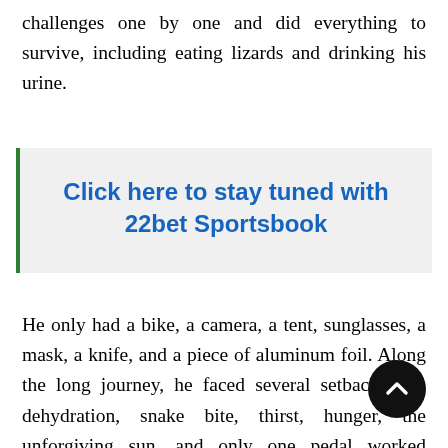challenges one by one and did everything to survive, including eating lizards and drinking his urine.
Click here to stay tuned with 22bet Sportsbook
He only had a bike, a camera, a tent, sunglasses, a mask, a knife, and a piece of aluminum foil. Along the long journey, he faced several setbacks like dehydration, snake bite, thirst, hunger, the unforgiving sun, and only one pedal worked properly for 386 kilometers. Add these factors to the fact that he had to cycle in the hot sand, and you will understand the incredible consciousness and strength a challenge like that required. He deserved his place on the list of heart-